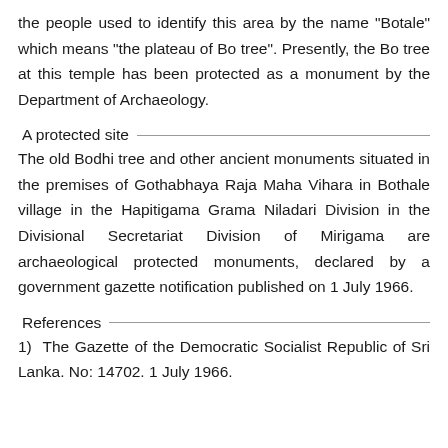the people used to identify this area by the name "Botale" which means "the plateau of Bo tree". Presently, the Bo tree at this temple has been protected as a monument by the Department of Archaeology.
A protected site
The old Bodhi tree and other ancient monuments situated in the premises of Gothabhaya Raja Maha Vihara in Bothale village in the Hapitigama Grama Niladari Division in the Divisional Secretariat Division of Mirigama are archaeological protected monuments, declared by a government gazette notification published on 1 July 1966.
References
1)  The Gazette of the Democratic Socialist Republic of Sri Lanka. No: 14702. 1 July 1966.